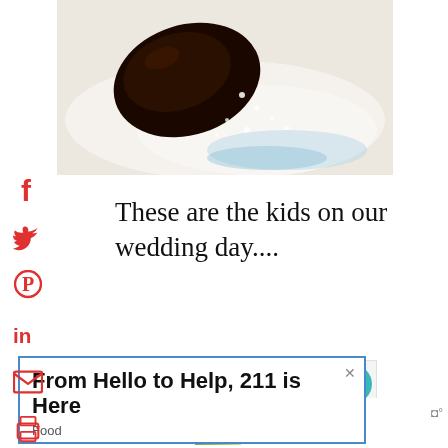[Figure (photo): Close-up photo of a chocolate dessert with powdered sugar on a white plate]
These are the kids on our wedding day....
[Figure (screenshot): Embedded content widget with heart and share buttons, and a What's Next panel showing Chicken Parmesan Di...]
From Hello to Help, 211 is Here
Food